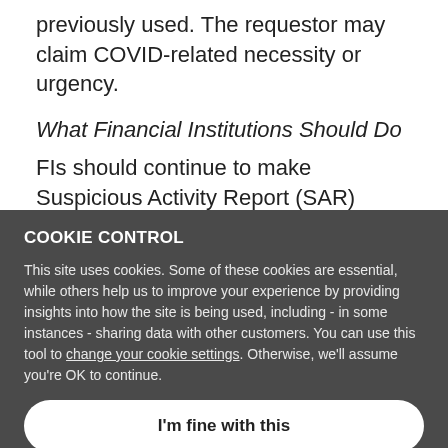previously used. The requestor may claim COVID-related necessity or urgency.
What Financial Institutions Should Do
FIs should continue to make Suspicious Activity Report (SAR) filings, using the COVID-19 key term and marking all appropriate check boxes.
COOKIE CONTROL
This site uses cookies. Some of these cookies are essential, while others help us to improve your experience by providing insights into how the site is being used, including - in some instances - sharing data with other customers. You can use this tool to change your cookie settings. Otherwise, we'll assume you're OK to continue.
I'm fine with this
More details
https://www.fincen.gov/coronavirus, which also
receive FinCEN updates.